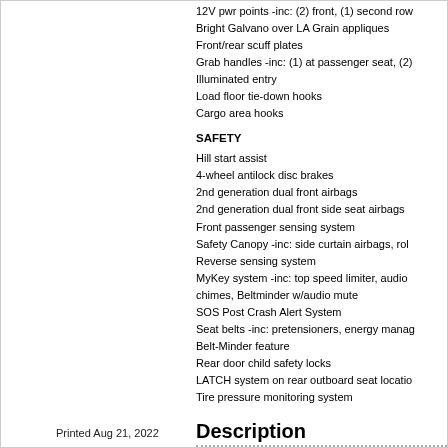12V pwr points -inc: (2) front, (1) second row
Bright Galvano over LA Grain appliques
Front/rear scuff plates
Grab handles -inc: (1) at passenger seat, (2)
Illuminated entry
Load floor tie-down hooks
Cargo area hooks
SAFETY
Hill start assist
4-wheel antilock disc brakes
2nd generation dual front airbags
2nd generation dual front side seat airbags
Front passenger sensing system
Safety Canopy -inc: side curtain airbags, roll
Reverse sensing system
MyKey system -inc: top speed limiter, audio chimes, Beltminder w/audio mute
SOS Post Crash Alert System
Seat belts -inc: pretensioners, energy manag
Belt-Minder feature
Rear door child safety locks
LATCH system on rear outboard seat locatio
Tire pressure monitoring system
Description
Printed Aug 21, 2022